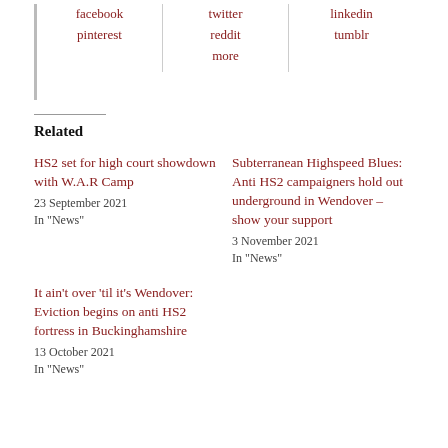facebook
pinterest
twitter
reddit
more
linkedin
tumblr
Related
HS2 set for high court showdown with W.A.R Camp
23 September 2021
In "News"
Subterranean Highspeed Blues: Anti HS2 campaigners hold out underground in Wendover – show your support
3 November 2021
In "News"
It ain't over 'til it's Wendover: Eviction begins on anti HS2 fortress in Buckinghamshire
13 October 2021
In "News"